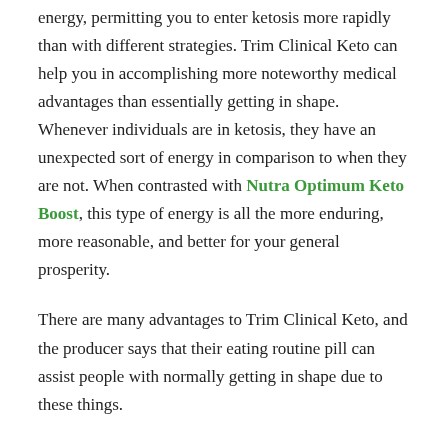energy, permitting you to enter ketosis more rapidly than with different strategies. Trim Clinical Keto can help you in accomplishing more noteworthy medical advantages than essentially getting in shape. Whenever individuals are in ketosis, they have an unexpected sort of energy in comparison to when they are not. When contrasted with Nutra Optimum Keto Boost, this type of energy is all the more enduring, more reasonable, and better for your general prosperity.
There are many advantages to Trim Clinical Keto, and the producer says that their eating routine pill can assist people with normally getting in shape due to these things.
Trim Clinical Keto Cleanse Enhances Results
Trim Clinical Keto is devoted to helping clients in accomplishing